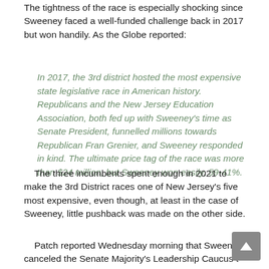The tightness of the race is especially shocking since Sweeney faced a well-funded challenge back in 2017 but won handily. As the Globe reported:
In 2017, the 3rd district hosted the most expensive state legislative race in American history. Republicans and the New Jersey Education Association, both fed up with Sweeney's time as Senate President, funnelled millions towards Republican Fran Grenier, and Sweeney responded in kind. The ultimate price tag of the race was more than $24 million, but Sweeney won easily, 59-41%.
The three incumbents spent enough in 2021 to make the 3rd District races one of New Jersey's five most expensive, even though, at least in the case of Sweeney, little pushback was made on the other side.
Patch reported Wednesday morning that Sweeney canceled the Senate Majority's Leadership Caucus t